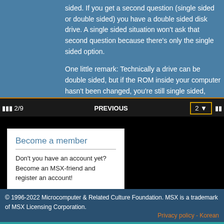sided. If you get a second question (single sided or double sided) you have a double sided disk drive. A single sided situation won't ask that second question because there's only the single sided option.

One little remark: Technically a drive can be double sided, but if the ROM inside your computer hasn't been changed, you're still single sided, eventhough the drive can work with double sided disks.
© 1996-2022 Microcomputer & Related Culture Foundation. MSX is a trademark of MSX Licensing Corporation.
Become a member
Don't you have an account yet? Become an MSX-friend and register an account!
Register now